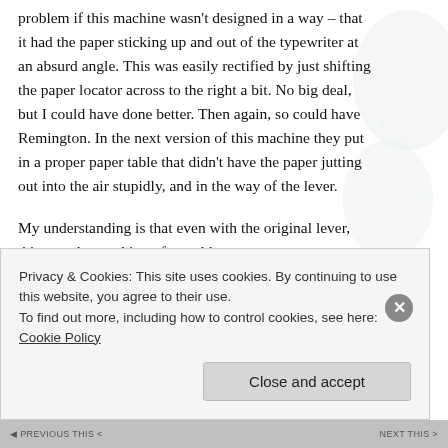problem if this machine wasn't designed in a way – that it had the paper sticking up and out of the typewriter at an absurd angle. This was easily rectified by just shifting the paper locator across to the right a bit. No big deal, but I could have done better. Then again, so could have Remington. In the next version of this machine they put in a proper paper table that didn't have the paper jutting out into the air stupidly, and in the way of the lever.
My understanding is that even with the original lever, this posed something of a problem.
Third: I needed to put a chamfer onto the edge of the tiny square knob that slots into the machine. This can be easily filed into it, as it only needs to be
Privacy & Cookies: This site uses cookies. By continuing to use this website, you agree to their use.
To find out more, including how to control cookies, see here: Cookie Policy
Close and accept